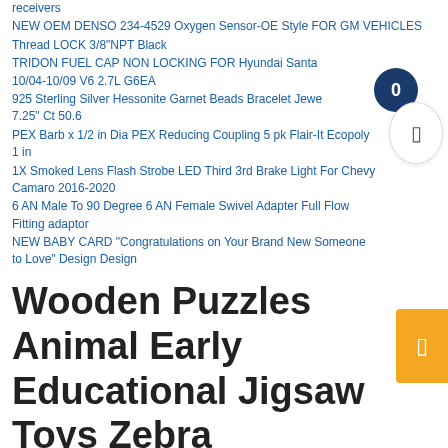receivers
NEW OEM DENSO 234-4529 Oxygen Sensor-OE Style FOR GM VEHICLES
Thread LOCK 3/8"NPT Black
TRIDON FUEL CAP NON LOCKING FOR Hyundai Santa 10/04-10/09 V6 2.7L G6EA
925 Sterling Silver Hessonite Garnet Beads Bracelet Jewelry 7.25" Ct 50.6
PEX Barb x 1/2 in Dia PEX Reducing Coupling 5 pk Flair-It Ecopoly 1 in
1X Smoked Lens Flash Strobe LED Third 3rd Brake Light For Chevy Camaro 2016-2020
6 AN Male To 90 Degree 6 AN Female Swivel Adapter Full Flow Fitting adaptor
NEW BABY CARD "Congratulations on Your Brand New Someone to Love" Design Design
Wooden Puzzles Animal Early Educational Jigsaw Toys Zebra Giraffe